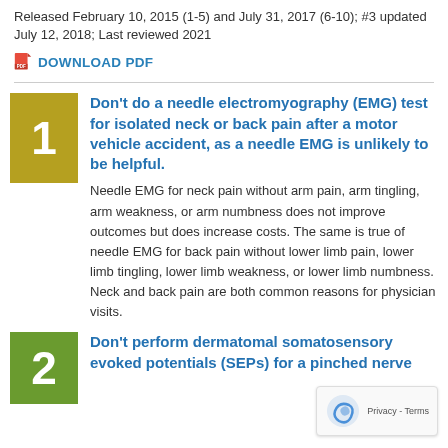Released February 10, 2015 (1-5) and July 31, 2017 (6-10); #3 updated July 12, 2018; Last reviewed 2021
DOWNLOAD PDF
Don't do a needle electromyography (EMG) test for isolated neck or back pain after a motor vehicle accident, as a needle EMG is unlikely to be helpful. Needle EMG for neck pain without arm pain, arm tingling, arm weakness, or arm numbness does not improve outcomes but does increase costs. The same is true of needle EMG for back pain without lower limb pain, lower limb tingling, lower limb weakness, or lower limb numbness. Neck and back pain are both common reasons for physician visits.
Don't perform dermatomal somatosensory evoked potentials (SEPs) for a pinched nerve